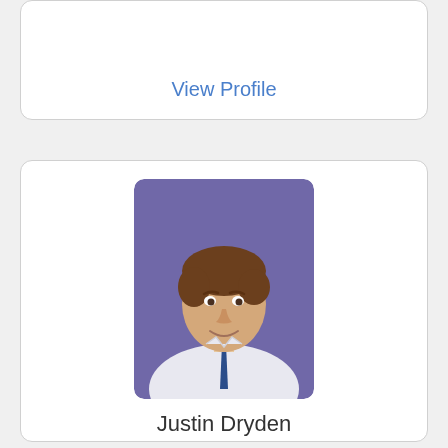View Profile
[Figure (photo): Profile photo of Justin Dryden - young man in white shirt and navy tie against purple background]
Justin Dryden
View Profile